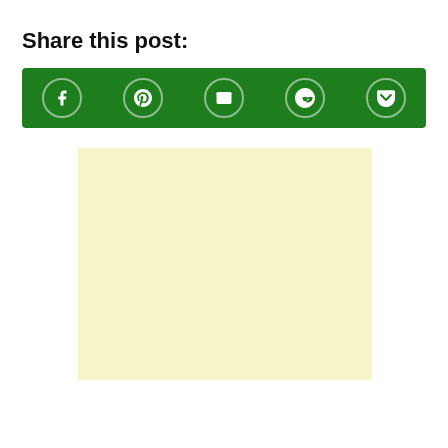Share this post:
[Figure (infographic): Green social sharing bar with icons for Facebook, Pinterest, Email, Reddit, and Pocket]
[Figure (other): Light yellow advertisement placeholder block]